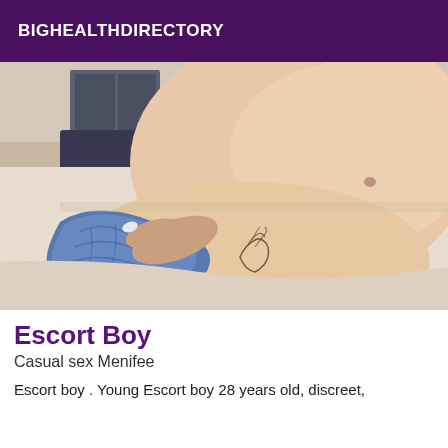BIGHEALTHDIRECTORY
[Figure (photo): Close-up photo of a person lying down, partially undressed, with a tattoo visible on the lower back/hip area and blue patterned fabric clothing.]
Escort Boy
Casual sex Menifee
Escort boy . Young Escort boy 28 years old, discreet,